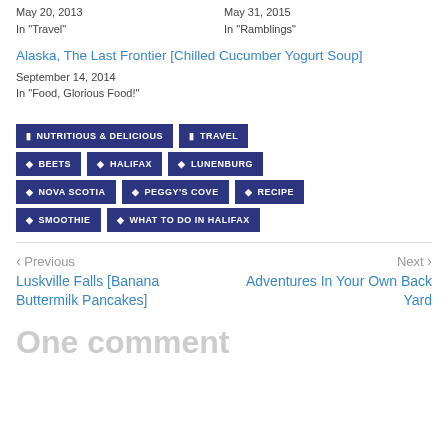May 20, 2013
In "Travel"
May 31, 2015
In "Ramblings"
Alaska, The Last Frontier [Chilled Cucumber Yogurt Soup]
September 14, 2014
In "Food, Glorious Food!"
NUTRITIOUS & DELICIOUS
TRAVEL
BEETS
HALIFAX
LUNENBURG
NOVA SCOTIA
PEGGY'S COVE
RECIPE
SMOOTHIE
WHAT TO DO IN HALIFAX
< Previous
Luskville Falls [Banana Buttermilk Pancakes]
Next >
Adventures In Your Own Back Yard
One comment